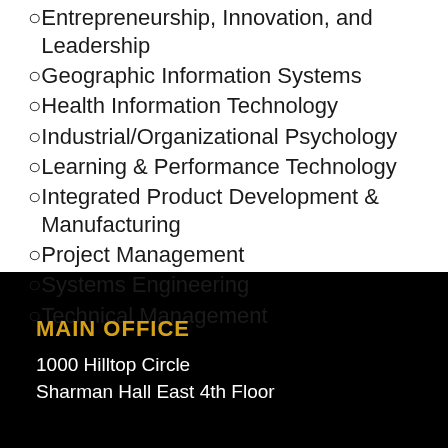Entrepreneurship, Innovation, and Leadership
Geographic Information Systems
Health Information Technology
Industrial/Organizational Psychology
Learning & Performance Technology
Integrated Product Development & Manufacturing
Project Management
Systems Engineering
Technical Management
MAIN OFFICE
1000 Hilltop Circle
Sharman Hall East 4th Floor